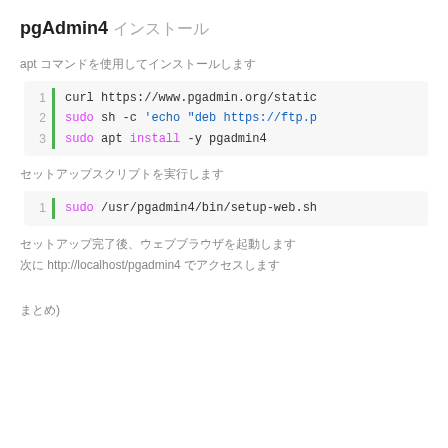pgAdmin4 インストール
apt コマンドを使用してインストールします
[Figure (screenshot): Code block showing 3 lines: 1) curl https://www.pgadmin.org/static  2) sudo sh -c 'echo "deb https://ftp.p  3) sudo apt install -y pgadmin4]
セットアップスクリプトを実行します
[Figure (screenshot): Code block showing 1 line: 1) sudo /usr/pgadmin4/bin/setup-web.sh]
セットアップ完了後、ウェブブラウザを起動します
次に http://localhost/pgadmin4 でアクセスします
まとめ)